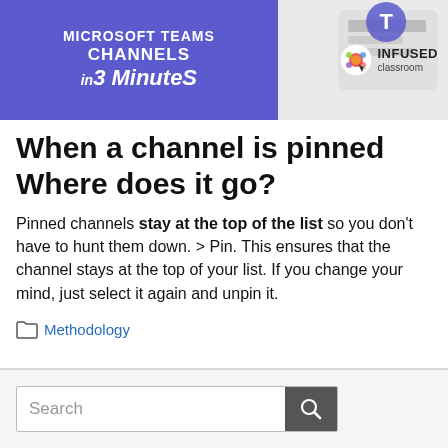[Figure (illustration): Microsoft Teams Channels in 3 Minutes banner with purple background and Infused Classroom logo]
When a channel is pinned Where does it go?
Pinned channels stay at the top of the list so you don't have to hunt them down. > Pin. This ensures that the channel stays at the top of your list. If you change your mind, just select it again and unpin it.
Methodology